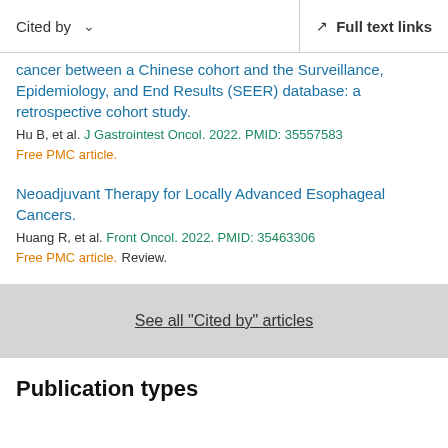Cited by  ∨    Full text links
cancer between a Chinese cohort and the Surveillance, Epidemiology, and End Results (SEER) database: a retrospective cohort study.
Hu B, et al. J Gastrointest Oncol. 2022. PMID: 35557583
Free PMC article.
Neoadjuvant Therapy for Locally Advanced Esophageal Cancers.
Huang R, et al. Front Oncol. 2022. PMID: 35463306
Free PMC article. Review.
See all "Cited by" articles
Publication types